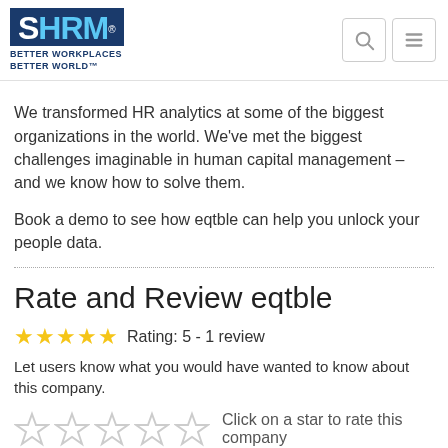SHRM - BETTER WORKPLACES BETTER WORLD™
We transformed HR analytics at some of the biggest organizations in the world. We've met the biggest challenges imaginable in human capital management – and we know how to solve them.
Book a demo to see how eqtble can help you unlock your people data.
Rate and Review eqtble
★★★★★ Rating: 5 - 1 review
Let users know what you would have wanted to know about this company.
Click on a star to rate this company
Your Association